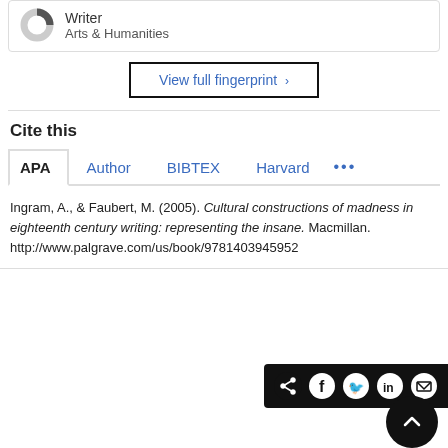[Figure (other): Partial donut/ring icon with Writer label and Arts & Humanities sub-label]
View full fingerprint >
Cite this
APA  Author  BIBTEX  Harvard  ...
Ingram, A., & Faubert, M. (2005). Cultural constructions of madness in eighteenth century writing: representing the insane. Macmillan. http://www.palgrave.com/us/book/9781403945952
[Figure (other): Social share bar with share, Facebook, Twitter, LinkedIn, email icons on black background, plus scroll-to-top button]